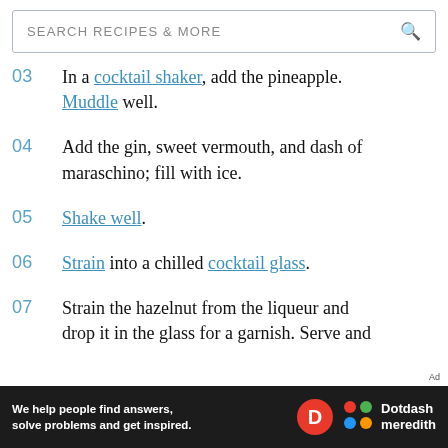SEARCH RECIPES & MORE
03  In a cocktail shaker, add the pineapple. Muddle well.
04  Add the gin, sweet vermouth, and dash of maraschino; fill with ice.
05  Shake well.
06  Strain into a chilled cocktail glass.
07  Strain the hazelnut from the liqueur and drop it in the glass for a garnish. Serve and
[Figure (other): Dotdash Meredith advertisement banner: 'We help people find answers, solve problems and get inspired.']